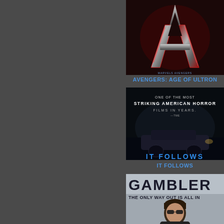[Figure (photo): Movie poster for Avengers: Age of Ultron showing the Avengers metallic 'A' logo in red, silver and dark tones]
AVENGERS: AGE OF ULTRON
[Figure (photo): Movie poster for It Follows showing a dark car on a road at night with text 'One of the Most Striking American Horror Films in Years' and the title 'IT FOLLOWS' in glowing blue letters]
IT FOLLOWS
[Figure (photo): Movie poster for The Gambler showing text 'GAMBLER THE ONLY WAY OUT IS ALL IN' with a dark-haired man wearing sunglasses]